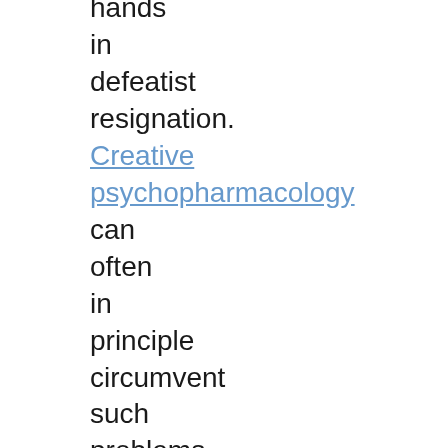hands in defeatist resignation. Creative psychopharmacology can often in principle circumvent such problems, even today. There may indeed be no safe drugs but just safe dosages. Yet some smart drugs,